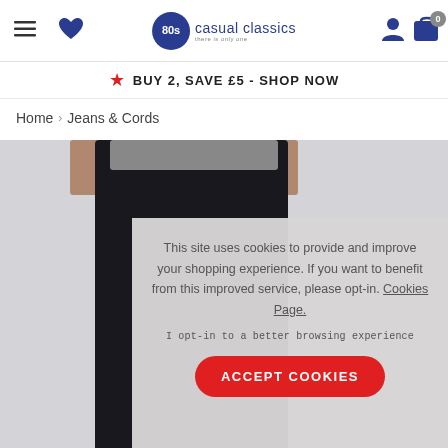80s Casual Classics navigation header with hamburger menu, heart icon, logo, user icon, and cart (0)
BUY 2, SAVE £5 - SHOP NOW
Home › Jeans & Cords
[Figure (photo): Person wearing dark jeans, hands in pockets, product photo background]
This site uses cookies to provide and improve your shopping experience. If you want to benefit from this improved service, please opt-in. Cookies Page.

I opt-in to a better browsing experience

ACCEPT COOKIES